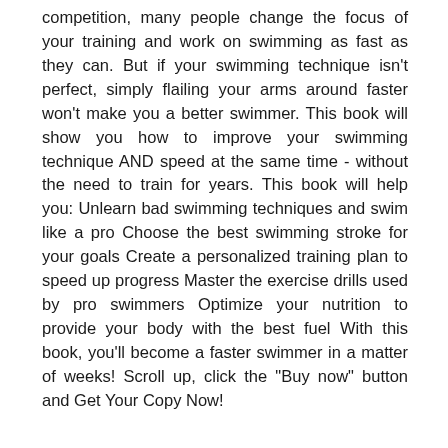competition, many people change the focus of your training and work on swimming as fast as they can. But if your swimming technique isn't perfect, simply flailing your arms around faster won't make you a better swimmer. This book will show you how to improve your swimming technique AND speed at the same time - without the need to train for years. This book will help you: Unlearn bad swimming techniques and swim like a pro Choose the best swimming stroke for your goals Create a personalized training plan to speed up progress Master the exercise drills used by pro swimmers Optimize your nutrition to provide your body with the best fuel With this book, you'll become a faster swimmer in a matter of weeks! Scroll up, click the "Buy now" button and Get Your Copy Now!